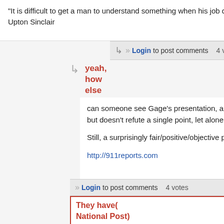"It is difficult to get a man to understand something when his job depends on not understanding it."
Upton Sinclair
tanabear on Fri, 04/24/2009 - 6:39p
Login to post comments   4 votes
yeah, how else
can someone see Gage's presentation, and not be at least "not sure". In his article he gives credit to Gage, but doesn't refute a single point, let alone all of them.

Still, a surprisingly fair/positive/objective piece from an avowed conservative.

http://911reports.com
loose nuke on Fri, 04/24/2009 - 10:56p
Login to post comments   4 votes
They have(National Post) comments option open on this story
by hawkeyi
Apr 24 2009
C-SPAN Washington Journal Architecture and Engineering for 9/11 Truth
CIA Director George Tenet Facilitated 9/11
Thomas Kean & Lee Hamilton Call For